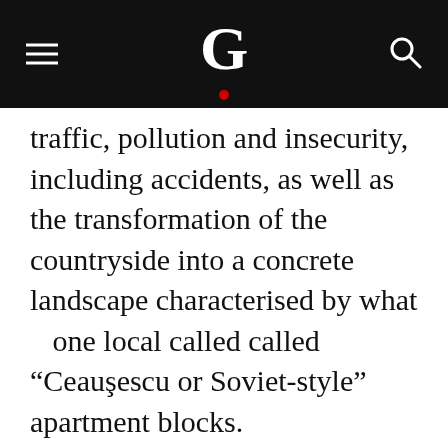G
traffic, pollution and insecurity, including accidents, as well as the transformation of the countryside into a concrete landscape characterised by what   one local called called “Ceauşescu or Soviet-style” apartment blocks.